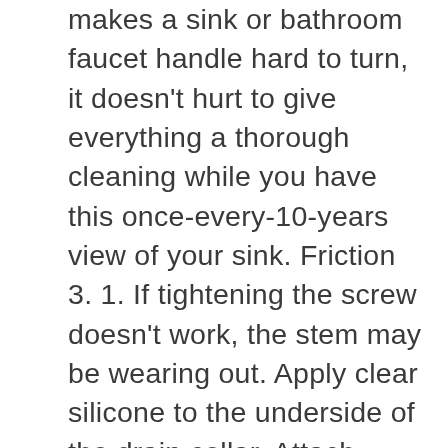makes a sink or bathroom faucet handle hard to turn, it doesn't hurt to give everything a thorough cleaning while you have this once-every-10-years view of your sink. Friction 3. 1. If tightening the screw doesn't work, the stem may be wearing out. Apply clear silicone to the underside of the drain collar. Attach each hose to the tailpipe of the faucet, and then tighten the nut by hand. Wrap the valve stem with plumber's tape. Using the proper size and shape screwdriver, gently tighten the screw until it is firmly in place. Next, turn off the water supply to the faucet. The Lahara® Faucet is featured in this installation video, but the installation is the same for most Delta Single-Handle Bathroom